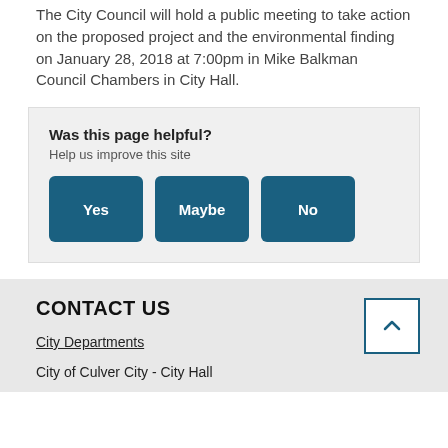The City Council will hold a public meeting to take action on the proposed project and the environmental finding on January 28, 2018 at 7:00pm in Mike Balkman Council Chambers in City Hall.
Was this page helpful?
Help us improve this site
Yes  Maybe  No
CONTACT US
City Departments
City of Culver City - City Hall